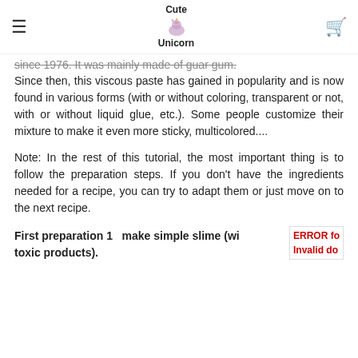Cute Unicorn
since 1976. It was mainly made of guar gum. Since then, this viscous paste has gained in popularity and is now found in various forms (with or without coloring, transparent or not, with or without liquid glue, etc.). Some people customize their mixture to make it even more sticky, multicolored....
Note: In the rest of this tutorial, the most important thing is to follow the preparation steps. If you don't have the ingredients needed for a recipe, you can try to adapt them or just move on to the next recipe.
First preparation 1  make simple slime (wi toxic products).